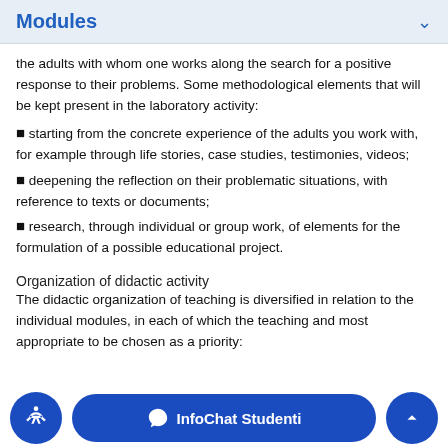Modules
the adults with whom one works along the search for a positive response to their problems. Some methodological elements that will be kept present in the laboratory activity:
• starting from the concrete experience of the adults you work with, for example through life stories, case studies, testimonies, videos;
• deepening the reflection on their problematic situations, with reference to texts or documents;
• research, through individual or group work, of elements for the formulation of a possible educational project.
Organization of didactic activity
The didactic organization of teaching is diversified in relation to the individual modules, in each of which the teaching and most appropriate to be chosen as a priority: